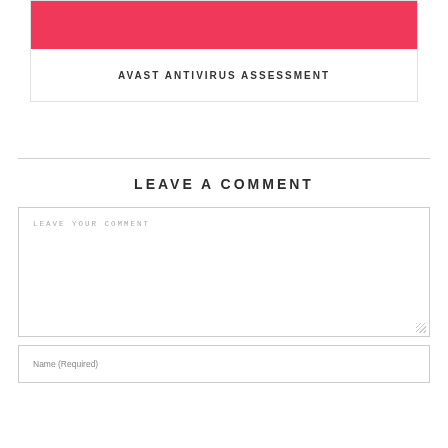AVAST ANTIVIRUS ASSESSMENT
LEAVE A COMMENT
LEAVE YOUR COMMENT
Name (Required)